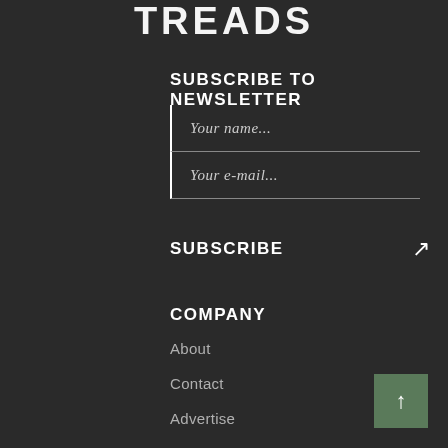[Figure (logo): TREADS logo in large distressed white uppercase text]
SUBSCRIBE TO NEWSLETTER
Your name...
Your e-mail...
SUBSCRIBE
COMPANY
About
Contact
Advertise
Newsletter Archive